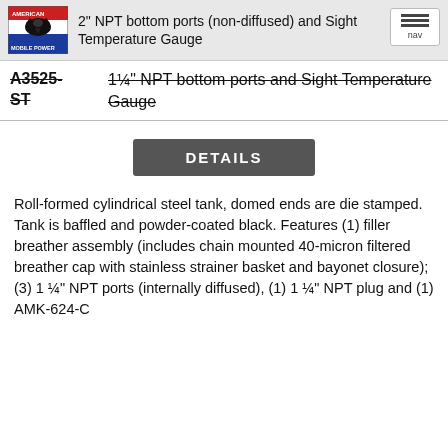2" NPT bottom ports (non-diffused) and Sight Temperature Gauge
A3525-ST   1¼" NPT bottom ports and Sight Temperature Gauge
DETAILS
Roll-formed cylindrical steel tank, domed ends are die stamped.  Tank is baffled and powder-coated black. Features (1) filler breather assembly (includes chain mounted 40-micron filtered breather cap with stainless strainer basket and bayonet closure); (3) 1 ¼" NPT ports (internally diffused), (1) 1 ¼" NPT plug and (1) AMK-624-C mounting kit. Oil and temperature gage ship direct...